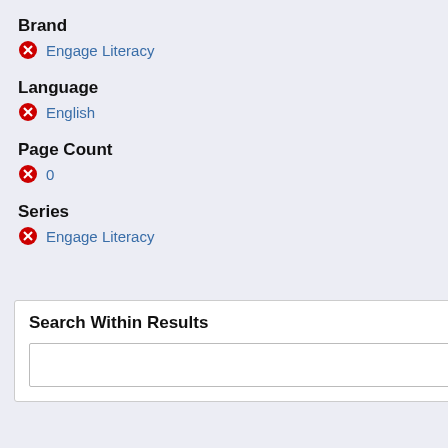Brand
Clear
Engage Literacy
Language
Clear
English
Page Count
Clear
0
Series
Clear
Engage Literacy
Clear All
Search Within Results
A Set of Titles
There are 3
This is a Ca
Only custom
Capstone C
cart for purc
GRL
Le
Select All